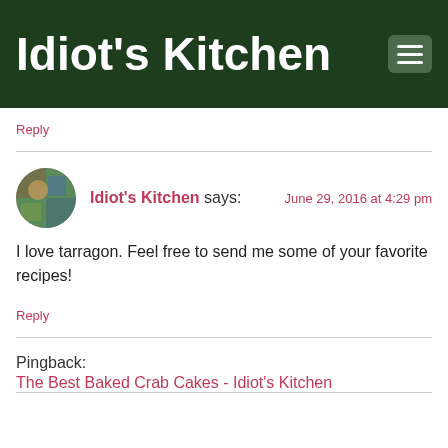Idiot's Kitchen
Reply
Idiot's Kitchen says: June 29, 2016 at 4:29 pm
I love tarragon. Feel free to send me some of your favorite recipes!
Reply
Pingback: The Best Baked Crab Cakes - Idiot's Kitchen